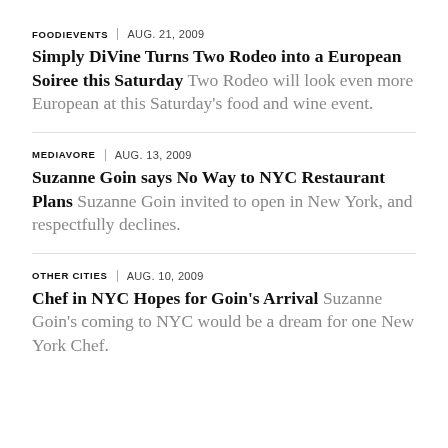FOODIEVENTS | AUG. 21, 2009
Simply DiVine Turns Two Rodeo into a European Soiree this Saturday Two Rodeo will look even more European at this Saturday's food and wine event.
MEDIAVORE | AUG. 13, 2009
Suzanne Goin says No Way to NYC Restaurant Plans Suzanne Goin invited to open in New York, and respectfully declines.
OTHER CITIES | AUG. 10, 2009
Chef in NYC Hopes for Goin's Arrival Suzanne Goin's coming to NYC would be a dream for one New York Chef.